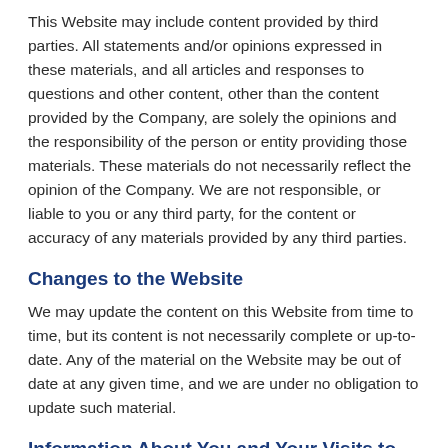This Website may include content provided by third parties. All statements and/or opinions expressed in these materials, and all articles and responses to questions and other content, other than the content provided by the Company, are solely the opinions and the responsibility of the person or entity providing those materials. These materials do not necessarily reflect the opinion of the Company. We are not responsible, or liable to you or any third party, for the content or accuracy of any materials provided by any third parties.
Changes to the Website
We may update the content on this Website from time to time, but its content is not necessarily complete or up-to-date. Any of the material on the Website may be out of date at any given time, and we are under no obligation to update such material.
Information About You and Your Visits to